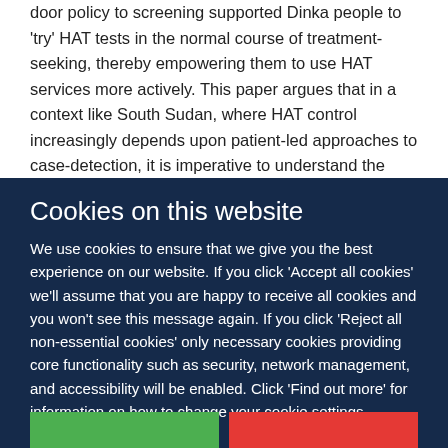door policy to screening supported Dinka people to 'try' HAT tests in the normal course of treatment-seeking, thereby empowering them to use HAT services more actively. This paper argues that in a context like South Sudan, where HAT control increasingly depends upon patient-led approaches to case-detection, it is imperative to understand the cultural values and political histories associated with the practice of testing and how medical humanitarian programmes shape this
Cookies on this website
We use cookies to ensure that we give you the best experience on our website. If you click 'Accept all cookies' we'll assume that you are happy to receive all cookies and you won't see this message again. If you click 'Reject all non-essential cookies' only necessary cookies providing core functionality such as security, network management, and accessibility will be enabled. Click 'Find out more' for information on how to change your cookie settings.